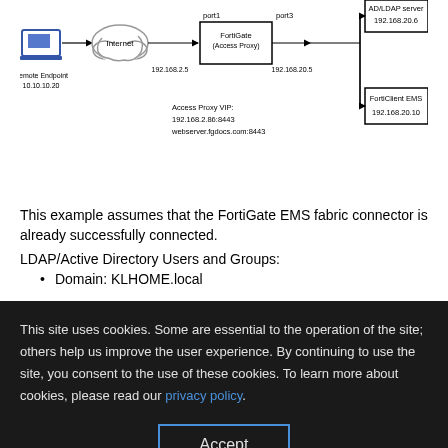[Figure (network-graph): Network diagram showing Remote Endpoint (10.10.10.20) connected through Internet cloud to FortiGate (Access Proxy) with port1 at 192.168.2.5, port3 at 192.168.20.5, Access Proxy VIP 192.168.2.86:8443 / webserver.fgdocs.com:8443, connected to AD/LDAP server 192.168.20.6, FortiClient EMS 192.168.20.10]
This example assumes that the FortiGate EMS fabric connector is already successfully connected.
LDAP/Active Directory Users and Groups:
Domain: KLHOME.local
This site uses cookies. Some are essential to the operation of the site; others help us improve the user experience. By continuing to use the site, you consent to the use of these cookies. To learn more about cookies, please read our privacy policy.